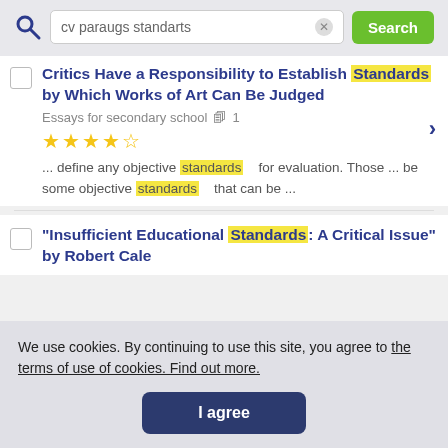[Figure (screenshot): Search bar with query 'cv paraugs standarts', clear button, and green Search button]
Critics Have a Responsibility to Establish Standards by Which Works of Art Can Be Judged
Essays for secondary school  1
[Figure (other): 4 out of 5 stars rating]
... define any objective standards  for evaluation. Those ... be some objective standards  that can be ...
"Insufficient Educational Standards: A Critical Issue" by Robert Cale
We use cookies. By continuing to use this site, you agree to the terms of use of cookies. Find out more.